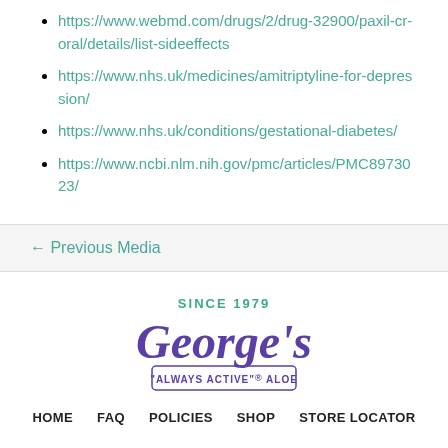https://www.webmd.com/drugs/2/drug-32900/paxil-cr-oral/details/list-sideeffects
https://www.nhs.uk/medicines/amitriptyline-for-depression/
https://www.nhs.uk/conditions/gestational-diabetes/
https://www.ncbi.nlm.nih.gov/pmc/articles/PMC8973023/
← Previous Media
[Figure (logo): George's Aloe logo with text 'SINCE 1979' and 'ALWAYS ACTIVE ALOE' in purple and teal]
HOME   FAQ   POLICIES   SHOP   STORE LOCATOR